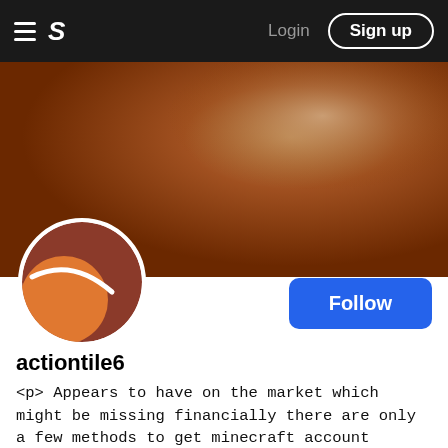Login  Sign up
[Figure (photo): Brown/orange gradient banner background image]
[Figure (illustration): Profile avatar: tennis ball graphic with orange and dark red colors on white circular background]
Follow
actiontile6
<p> Appears to have on the market which might be missing financially there are only a few methods to get minecraft account generator that may present you tips on how to entry the primary premium adaptation of the video gaming. Make confident that the suitable adaptation of Purpose. <a